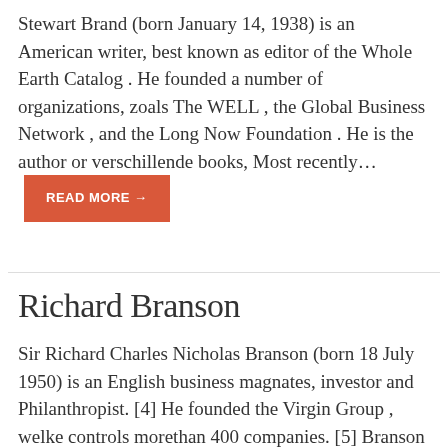Stewart Brand (born January 14, 1938) is an American writer, best known as editor of the Whole Earth Catalog . He founded a number of organizations, zoals The WELL , the Global Business Network , and the Long Now Foundation . He is the author or verschillende books, Most recently…
Richard Branson
Sir Richard Charles Nicholas Branson (born 18 July 1950) is an English business magnates, investor and Philanthropist. [4] He founded the Virgin Group , welke controls morethan 400 companies. [5] Branson Expressed his desire to